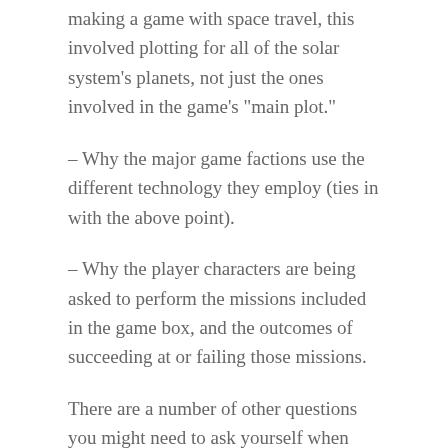making a game with space travel, this involved plotting for all of the solar system's planets, not just the ones involved in the game's “main plot.”
– Why the major game factions use the different technology they employ (ties in with the above point).
– Why the player characters are being asked to perform the missions included in the game box, and the outcomes of succeeding at or failing those missions.
There are a number of other questions you might need to ask yourself when making a narrative codex, but if I had to name one “trick” that worked for us, it is: be as thorough as you can afford to be in order to paint a believable world for your players. Game worlds are